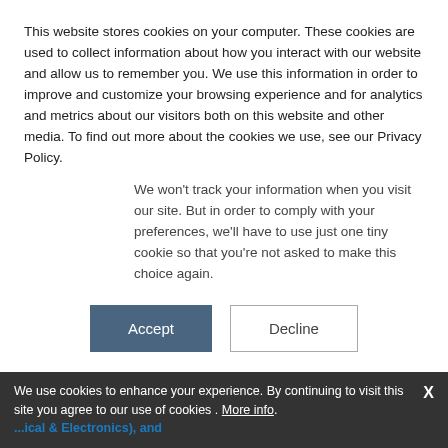This website stores cookies on your computer. These cookies are used to collect information about how you interact with our website and allow us to remember you. We use this information in order to improve and customize your browsing experience and for analytics and metrics about our visitors both on this website and other media. To find out more about the cookies we use, see our Privacy Policy.
We won't track your information when you visit our site. But in order to comply with your preferences, we'll have to use just one tiny cookie so that you're not asked to make this choice again.
Accept | Decline
Market Reports
Polyvinyl Butyral (PVB) Market by Applications (Films &
We use cookies to enhance your experience. By continuing to visit this site you agree to our use of cookies . More info.
...Optical & Electronics), and Region (North America, Asia Pacific, Europe, South America, Middle East & Africa) - Global Forecast to 2027
The polyvinyl butyral (PVB) market is expected to grow from